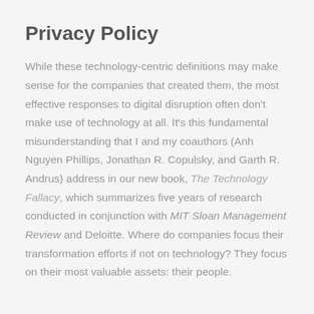Privacy Policy
While these technology-centric definitions may make sense for the companies that created them, the most effective responses to digital disruption often don't make use of technology at all. It's this fundamental misunderstanding that I and my coauthors (Anh Nguyen Phillips, Jonathan R. Copulsky, and Garth R. Andrus) address in our new book, The Technology Fallacy, which summarizes five years of research conducted in conjunction with MIT Sloan Management Review and Deloitte. Where do companies focus their transformation efforts if not on technology? They focus on their most valuable assets: their people.